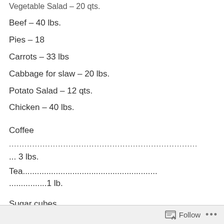Vegetable Salad – 20 qts.
Beef – 40 lbs.
Pies – 18
Carrots – 33 lbs
Cabbage for slaw – 20 lbs.
Potato Salad – 12 qts.
Chicken – 40 lbs.
Coffee
....................................................................................................
... 3 lbs.
Tea.........................................................
................1 lb.
Sugar cubes
..............................................................................................................3
Follow ...